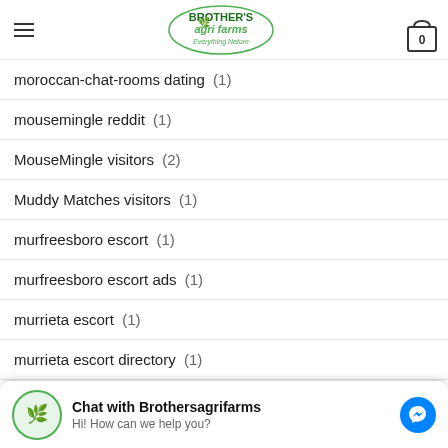Brother's Agri Farms - Everything Nature
moroccan-chat-rooms dating (1)
mousemingle reddit (1)
MouseMingle visitors (2)
Muddy Matches visitors (1)
murfreesboro escort (1)
murfreesboro escort ads (1)
murrieta escort (1)
murrieta escort directory (1)
[Figure (screenshot): Chat with Brothersagrifarms widget: Hi! How can we help you? with Messenger icon]